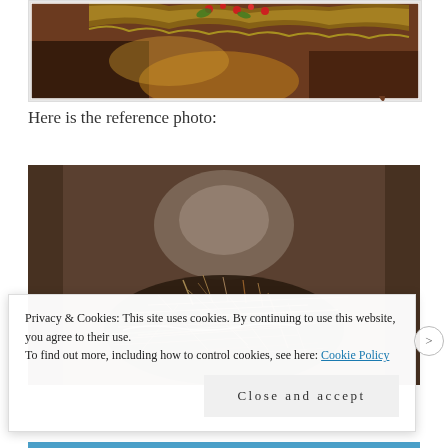[Figure (photo): Top portion of an oil painting showing a decorative textile/tapestry with warm brown, amber, and dark tones, with red berries and green accents visible at the top edge, white border frame visible]
Here is the reference photo:
[Figure (photo): Close-up photograph of a bird nest made of dried twigs and straw/grass, with blurred dark wooden background, warm brown tones]
Privacy & Cookies: This site uses cookies. By continuing to use this website, you agree to their use.
To find out more, including how to control cookies, see here: Cookie Policy
Close and accept